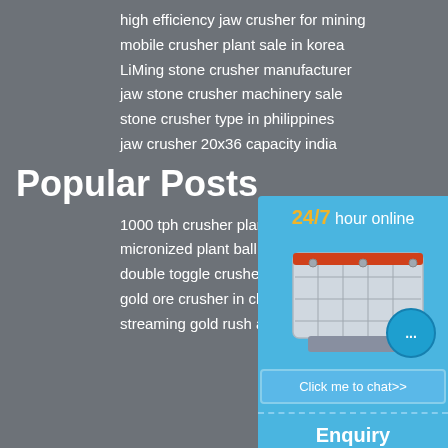high efficiency jaw crusher for mining
mobile crusher plant sale in korea
LiMing stone crusher manufacturer
jaw stone crusher machinery sale
stone crusher type in philippines
jaw crusher 20x36 capacity india
Popular Posts
1000 tph crusher plant with vsi crus
micronized plant ball mill
double toggle crusher pitman
gold ore crusher in china
streaming gold rush alaska jungle s
[Figure (infographic): Blue widget panel on right side showing '24/7 hour online', an industrial crusher machine image, a chat bubble icon, 'Click me to chat>>' button, 'Enquiry' text, and 'limingjlmofen' text]